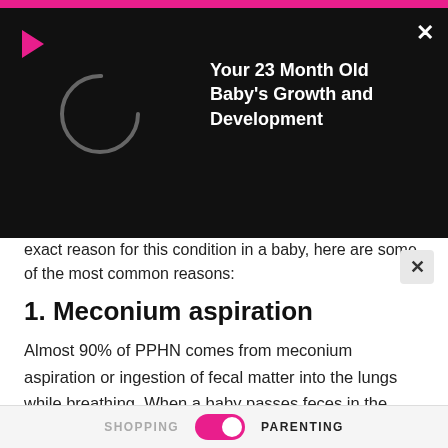[Figure (screenshot): Video overlay popup with play icon, loading spinner circle, close X button, and video title 'Your 23 Month Old Baby's Growth and Development' on dark/black background]
exact reason for this condition in a baby, here are some of the most common reasons:
1. Meconium aspiration
Almost 90% of PPHN comes from meconium aspiration or ingestion of fecal matter into the lungs while breathing. When a baby passes feces in the womb, it gets mixed with the amniotic fluid. Sometimes this fluid gets into the lung as the baby takes its first breath.
ADVERTISEMENT
SHOPPING   PARENTING